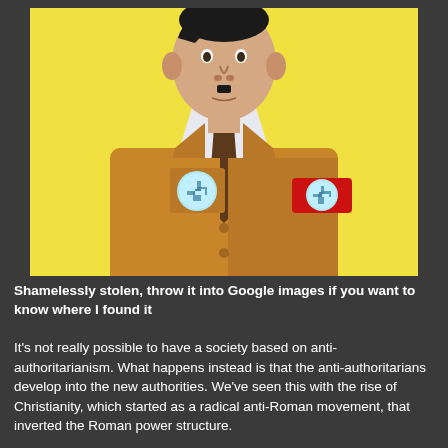[Figure (illustration): Cartoon illustration of a figure in a tan/brown suit with a dark tie against a yellow background, wearing armbands and badges featuring swastika symbols on circular emblems.]
Shamelessly stolen, throw it into Google images if you want to know where I found it
It's not really possible to have a society based on anti-authoritarianism. What happens instead is that the anti-authoritarians develop into the new authorities. We've seen this with the rise of Christianity, which started as a radical anti-Roman movement, that inverted the Roman power structure.